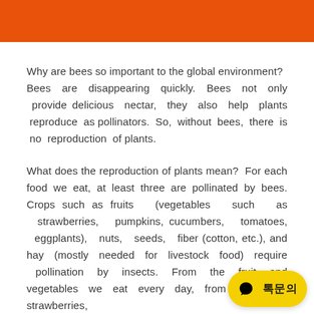[Figure (other): Orange decorative header bar]
Why are bees so important to the global environment? Bees are disappearing quickly. Bees not only provide delicious nectar, they also help plants reproduce as pollinators. So, without bees, there is no reproduction of plants.
What does the reproduction of plants mean? For each food we eat, at least three are pollinated by bees. Crops such as fruits (vegetables such as strawberries, pumpkins, cucumbers, tomatoes, eggplants), nuts, seeds, fiber (cotton, etc.), and hay (mostly needed for livestock food) require pollination by insects. From the fruit and vegetables we eat every day, from apples to strawberries,
[Figure (other): Yellow chat bubble button with Korean text '톡문의']